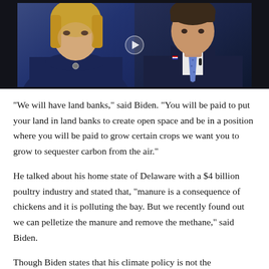[Figure (photo): A video thumbnail showing two people side by side: a woman with blonde hair wearing a dark turtleneck on the left, and a man in a dark suit with a blue tie on the right. A play button icon is visible in the center.]
“We will have land banks,” said Biden. “You will be paid to put your land in land banks to create open space and be in a position where you will be paid to grow certain crops we want you to grow to sequester carbon from the air.”
He talked about his home state of Delaware with a $4 billion poultry industry and stated that, “manure is a consequence of chickens and it is polluting the bay. But we recently found out we can pelletize the manure and remove the methane,” said Biden.
Though Biden states that his climate policy is not the